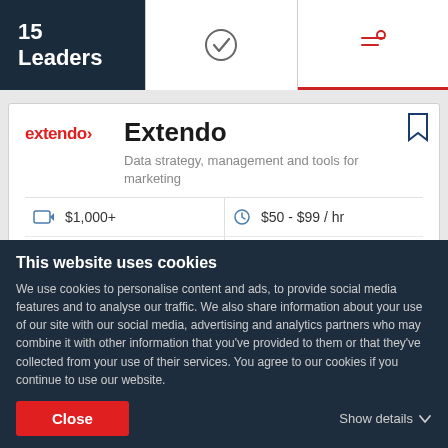15 Leaders
Extendo
Data strategy, management and tools for marketing
| Icon | Value | Icon | Value |
| --- | --- | --- | --- |
| [tag icon] | $1,000+ | [clock icon] | $50 - $99 / hr |
| [person icon] | 10 - 49 | [location icon] | ABA, Argentina |
Ability to deliver   28.0
This website uses cookies
We use cookies to personalise content and ads, to provide social media features and to analyse our traffic. We also share information about your use of our site with our social media, advertising and analytics partners who may combine it with other information that you've provided to them or that they've collected from your use of their services. You agree to our cookies if you continue to use our website.
Close
Show details